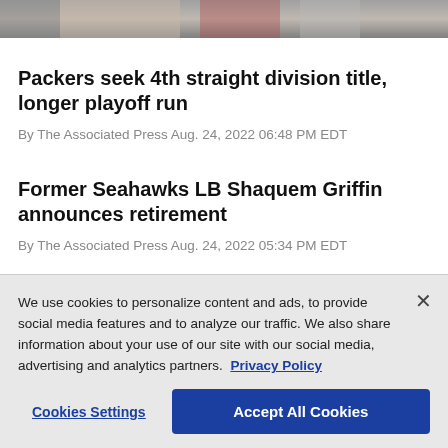[Figure (photo): Partial photo strip at top of page showing what appears to be people, partially cropped]
Packers seek 4th straight division title, longer playoff run
By The Associated Press Aug. 24, 2022 06:48 PM EDT
Former Seahawks LB Shaquem Griffin announces retirement
By The Associated Press Aug. 24, 2022 05:34 PM EDT
We use cookies to personalize content and ads, to provide social media features and to analyze our traffic. We also share information about your use of our site with our social media, advertising and analytics partners. Privacy Policy
Cookies Settings
Accept All Cookies